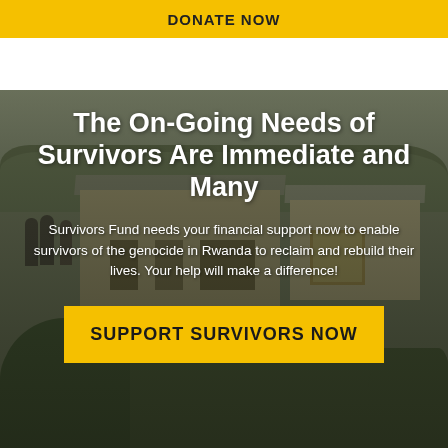DONATE NOW
[Figure (photo): Background photo of simple buildings and green vegetation in Rwanda, with people visible on the left side. Dark overlay applied over the photo.]
The On-Going Needs of Survivors Are Immediate and Many
Survivors Fund needs your financial support now to enable survivors of the genocide in Rwanda to reclaim and rebuild their lives. Your help will make a difference!
SUPPORT SURVIVORS NOW